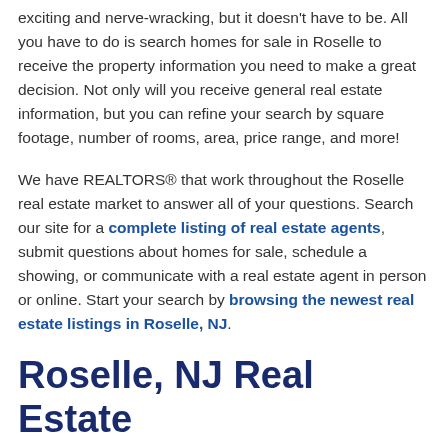exciting and nerve-wracking, but it doesn't have to be. All you have to do is search homes for sale in Roselle to receive the property information you need to make a great decision. Not only will you receive general real estate information, but you can refine your search by square footage, number of rooms, area, price range, and more!
We have REALTORS® that work throughout the Roselle real estate market to answer all of your questions. Search our site for a complete listing of real estate agents, submit questions about homes for sale, schedule a showing, or communicate with a real estate agent in person or online. Start your search by browsing the newest real estate listings in Roselle, NJ.
Roselle, NJ Real Estate Services
Let the real estate professionals at JJ Elek Realty help gather the Roselle real estate information you need to make the right home buying decision. What are you waiting for? Contact us to